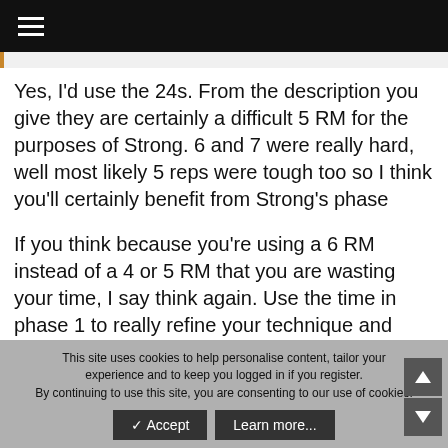≡ (hamburger menu)
Yes, I'd use the 24s. From the description you give they are certainly a difficult 5 RM for the purposes of Strong. 6 and 7 were really hard, well most likely 5 reps were tough too so I think you'll certainly benefit from Strong's phase
If you think because you're using a 6 RM instead of a 4 or 5 RM that you are wasting your time, I say think again. Use the time in phase 1 to really refine your technique and focus on getting all the cues from the book and video. Then after phase 1,
This site uses cookies to help personalise content, tailor your experience and to keep you logged in if you register. By continuing to use this site, you are consenting to our use of cookies. ✓ Accept  Learn more...